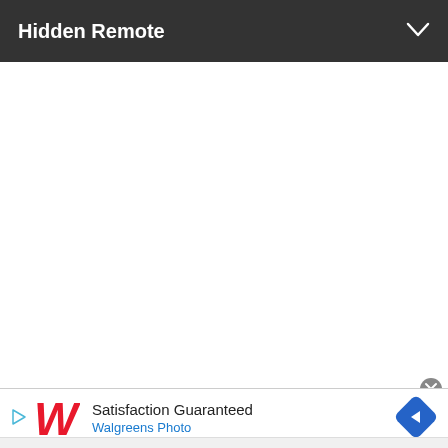Hidden Remote
[Figure (screenshot): White empty content area below the header bar]
[Figure (screenshot): Advertisement banner for Walgreens Photo showing Walgreens logo, text 'Satisfaction Guaranteed' and 'Walgreens Photo', with a blue diamond navigation arrow icon on the right and a close button (x) above the banner]